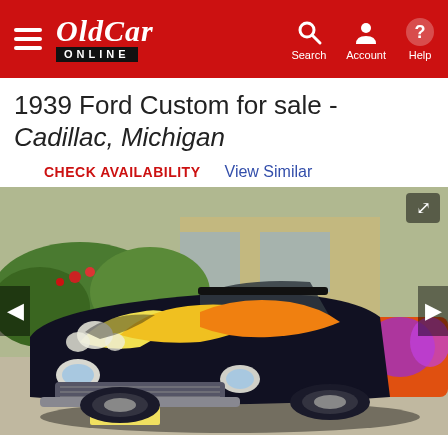OldCar ONLINE — Search, Account, Help
1939 Ford Custom for sale - Cadillac, Michigan
CHECK AVAILABILITY   View Similar
[Figure (photo): 1939 Ford Custom convertible with bold black paint and yellow/orange/white flame graphics, parked in a driveway with landscaping in the background. Left and right navigation arrows visible on image.]